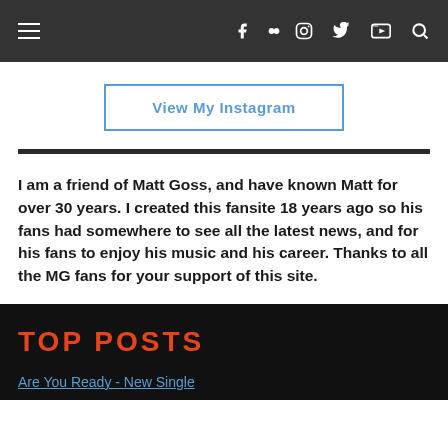Navigation bar with hamburger menu, social icons (Facebook, Flickr, Instagram, Twitter, YouTube) and search
View My Instagram
I am a friend of Matt Goss, and have known Matt for over 30 years. I created this fansite 18 years ago so his fans had somewhere to see all the latest news, and for his fans to enjoy his music and his career. Thanks to all the MG fans for your support of this site.
TOP POSTS
Are You Ready - New Single